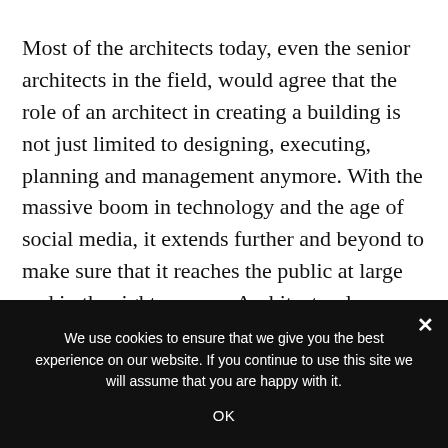Most of the architects today, even the senior architects in the field, would agree that the role of an architect in creating a building is not just limited to designing, executing, planning and management anymore. With the massive boom in technology and the age of social media, it extends further and beyond to make sure that it reaches the public at large and in the right manner. Architectural journalism creates opportunities to make one's work reach a larger audience and gain more clients. As a full-time practicing architect, it can be very hard to play the
We use cookies to ensure that we give you the best experience on our website. If you continue to use this site we will assume that you are happy with it.
OK